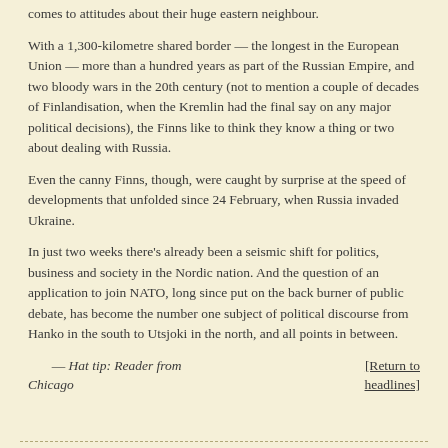comes to attitudes about their huge eastern neighbour.
With a 1,300-kilometre shared border — the longest in the European Union — more than a hundred years as part of the Russian Empire, and two bloody wars in the 20th century (not to mention a couple of decades of Finlandisation, when the Kremlin had the final say on any major political decisions), the Finns like to think they know a thing or two about dealing with Russia.
Even the canny Finns, though, were caught by surprise at the speed of developments that unfolded since 24 February, when Russia invaded Ukraine.
In just two weeks there's already been a seismic shift for politics, business and society in the Nordic nation. And the question of an application to join NATO, long since put on the back burner of public debate, has become the number one subject of political discourse from Hanko in the south to Utsjoki in the north, and all points in between.
— Hat tip: Reader from Chicago
[Return to headlines]